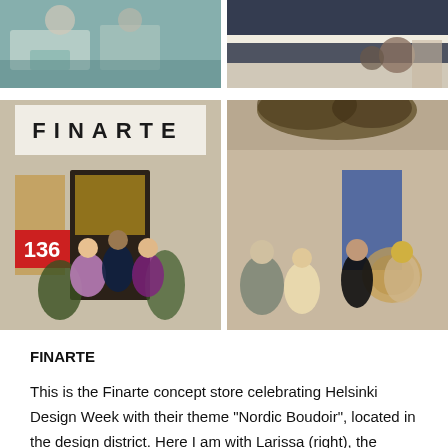[Figure (photo): Top-left photo: retail store interior with decorative items on shelves and trays with teal/blue tones]
[Figure (photo): Top-right photo: fabric/textile detail with dark navy stripes and thread spools]
[Figure (photo): Middle-left photo: exterior of FINARTE concept store with number 136, three women posing in front, decorated with plants]
[Figure (photo): Middle-right photo: interior event scene at Finarte concept store with people mingling, dried floral arrangement overhead, rattan chair]
FINARTE
This is the Finarte concept store celebrating Helsinki Design Week with their theme "Nordic Boudoir", located in the design district. Here I am with Larissa (right), the